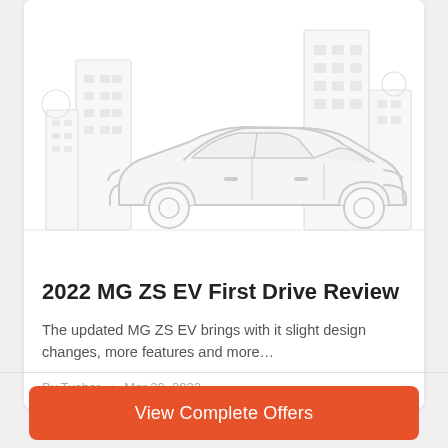[Figure (illustration): Gray outline illustration of a sedan car with city buildings silhouette in the background, on a white background]
2022 MG ZS EV First Drive Review
The updated MG ZS EV brings with it slight design changes, more features and more…
By Tushar • Mar 30, 2022
View Complete Offers